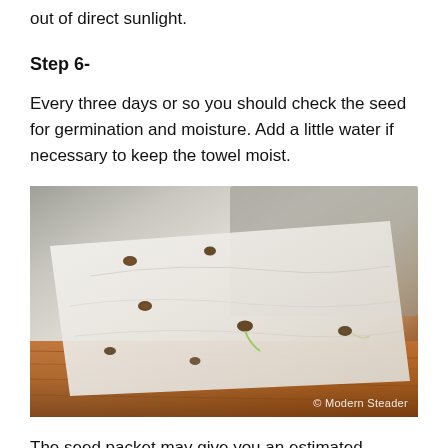out of direct sunlight.
Step 6-
Every three days or so you should check the seed for germination and moisture. Add a little water if necessary to keep the towel moist.
[Figure (photo): Seeds germinating on a moist white paper towel laid on a wooden surface, with small sprouting seeds visible. Watermark reads '© Modern Steader'.]
The seed packet may give you an estimated